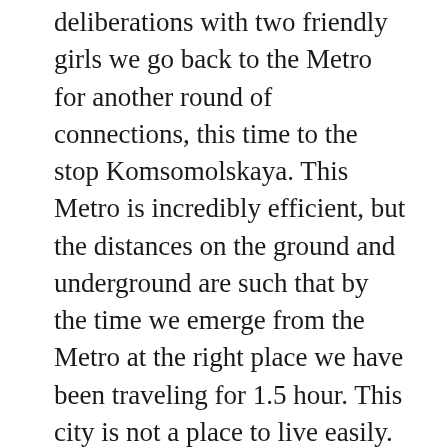deliberations with two friendly girls we go back to the Metro for another round of connections, this time to the stop Komsomolskaya. This Metro is incredibly efficient, but the distances on the ground and underground are such that by the time we emerge from the Metro at the right place we have been traveling for 1.5 hour. This city is not a place to live easily.
We finally get of at Komsomolska. Outside the station, on the street, it is a huge open space with three different railroad stations. But ours is not visible from the Metro exit, and there are no signs otherwise. So we wonder for a bit, pulling our luggage behind, and melt into the dense crowd of vulgar faces, young men with